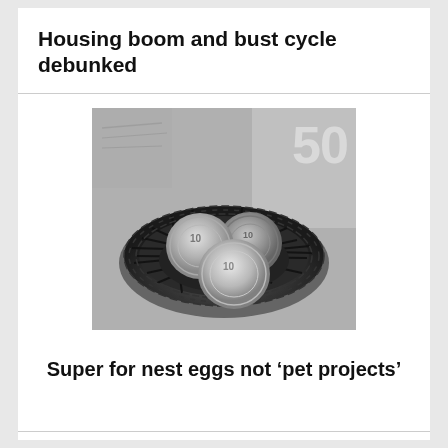Housing boom and bust cycle debunked
[Figure (photo): Black and white photo of Australian coins (10 cent pieces) sitting inside a bird's nest, with Australian currency notes visible in the background.]
Super for nest eggs not ‘pet projects’